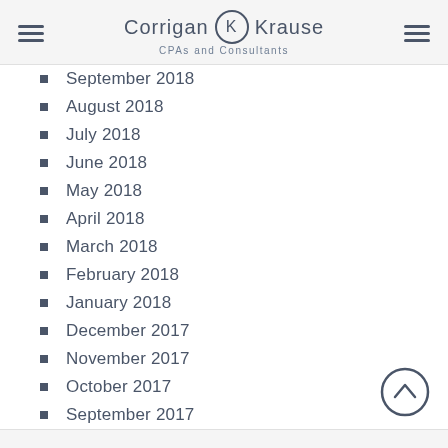Corrigan Krause CPAs and Consultants
September 2018
August 2018
July 2018
June 2018
May 2018
April 2018
March 2018
February 2018
January 2018
December 2017
November 2017
October 2017
September 2017